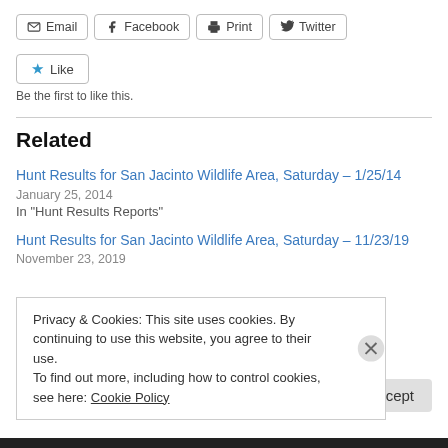Email | Facebook | Print | Twitter
Like
Be the first to like this.
Related
Hunt Results for San Jacinto Wildlife Area, Saturday – 1/25/14
January 25, 2014
In "Hunt Results Reports"
Hunt Results for San Jacinto Wildlife Area, Saturday – 11/23/19
November 23, 2019
Privacy & Cookies: This site uses cookies. By continuing to use this website, you agree to their use.
To find out more, including how to control cookies, see here: Cookie Policy
Close and accept